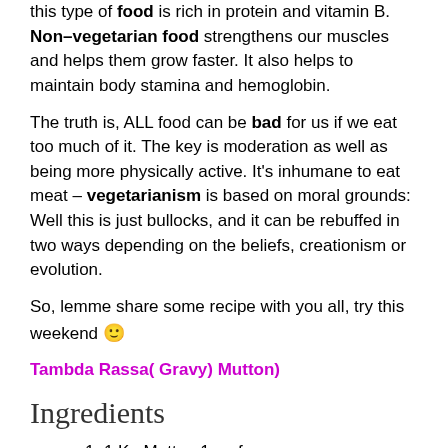this type of food is rich in protein and vitamin B. Non–vegetarian food strengthens our muscles and helps them grow faster. It also helps to maintain body stamina and hemoglobin.
The truth is, ALL food can be bad for us if we eat too much of it. The key is moderation as well as being more physically active. It's inhumane to eat meat – vegetarianism is based on moral grounds: Well this is just bullocks, and it can be rebuffed in two ways depending on the beliefs, creationism or evolution.
So, lemme share some recipe with you all, try this weekend 🙂
Tambda Rassa( Gravy) Mutton)
Ingredients
1. 1 Kg Mutton 1. . of
2. 1 Tbsp Chilly 2. Red Powder
3. 1 Cup 3. Oil
4. 1 Tomato 4.